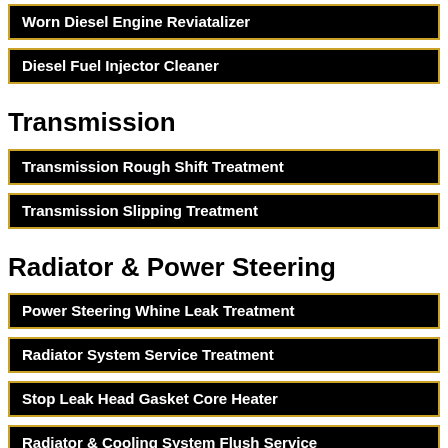Worn Diesel Engine Reviatalizer
Diesel Fuel Injector Cleaner
Transmission
Transmission Rough Shift Treatment
Transmission Slipping Treatment
Radiator & Power Steering
Power Steering Whine Leak Treatment
Radiator System Service Treatment
Stop Leak Head Gasket Core Heater
Radiator & Cooling System Flush Service